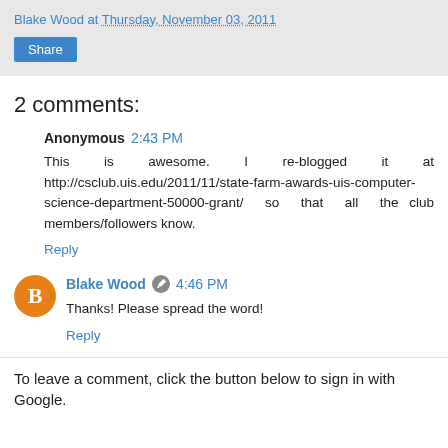Blake Wood at Thursday, November 03, 2011
2 comments:
Anonymous 2:43 PM
This is awesome. I re-blogged it at http://csclub.uis.edu/2011/11/state-farm-awards-uis-computer-science-department-50000-grant/ so that all the club members/followers know.
Reply
Blake Wood 4:46 PM
Thanks! Please spread the word!
Reply
To leave a comment, click the button below to sign in with Google.